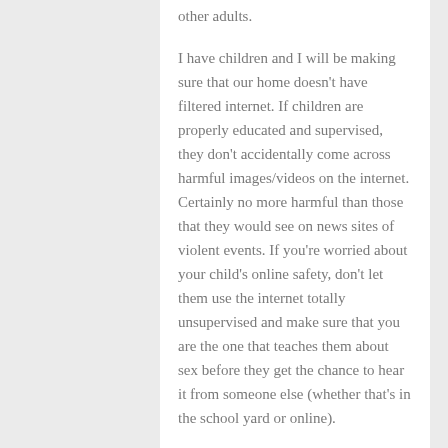other adults.

I have children and I will be making sure that our home doesn't have filtered internet. If children are properly educated and supervised, they don't accidentally come across harmful images/videos on the internet. Certainly no more harmful than those that they would see on news sites of violent events. If you're worried about your child's online safety, don't let them use the internet totally unsupervised and make sure that you are the one that teaches them about sex before they get the chance to hear it from someone else (whether that's in the school yard or online).